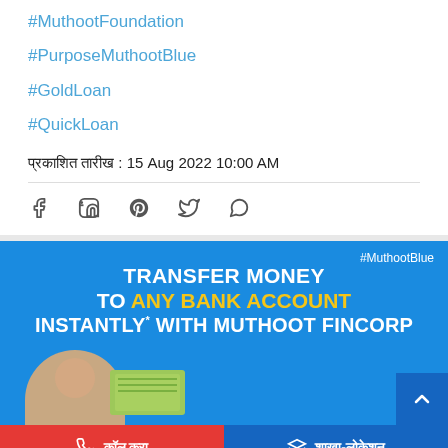#MuthootFoundation
#PurposeMuthootBlue
#GoldLoan
#QuickLoan
प्रकाशित तारीख : 15 Aug 2022 10:00 AM
[Figure (infographic): Social media share icons: Facebook, LinkedIn, Pinterest, Twitter, WhatsApp]
[Figure (infographic): Muthoot Fincorp advertisement banner with blue background. Text: TRANSFER MONEY TO ANY BANK ACCOUNT INSTANTLY* WITH MUTHOOT FINCORP. Hashtag #MuthootBlue in top right. Woman and money image at bottom left. Scroll-to-top button.]
कॉल करा
शाखा-लोकेशन